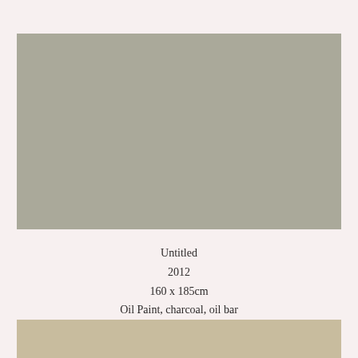[Figure (photo): A rectangular painting with a uniform medium gray tone, displayed on a pale pink/cream background. The artwork fills most of the upper portion of the page.]
Untitled
2012
160 x 185cm
Oil Paint, charcoal, oil bar
[Figure (photo): Bottom partial view of another artwork with a warm tan/khaki tone, cropped at the page edge.]